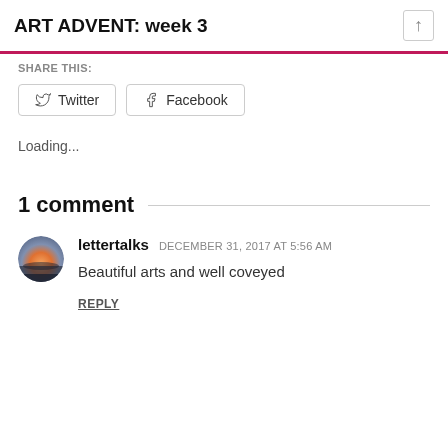ART ADVENT: week 3
SHARE THIS:
Twitter  Facebook
Loading...
1 comment
lettertalks  DECEMBER 31, 2017 AT 5:56 AM
Beautiful arts and well coveyed
REPLY